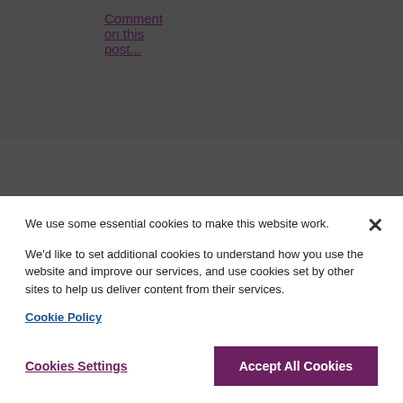Comment on this post...
About the NAO blog
We use some essential cookies to make this website work.
We'd like to set additional cookies to understand how you use the website and improve our services, and use cookies set by other sites to help us deliver content from their services.
Cookie Policy
Cookies Settings
Accept All Cookies